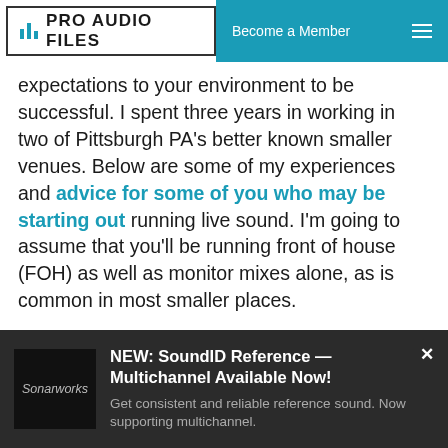PRO AUDIO FILES | Become a Member
expectations to your environment to be successful. I spent three years in working in two of Pittsburgh PA's better known smaller venues. Below are some of my experiences and advice for some of you who may be starting out running live sound. I'm going to assume that you'll be running front of house (FOH) as well as monitor mixes alone, as is common in most smaller places.
[Figure (screenshot): Advertisement banner for Sonarworks SoundID Reference Multichannel. Shows Sonarworks logo on dark background with text: NEW: SoundID Reference — Multichannel Available Now! Get consistent and reliable reference sound. Now supporting multichannel.]